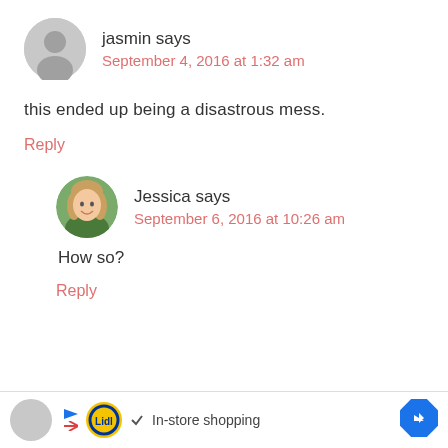jasmin says
September 4, 2016 at 1:32 am
this ended up being a disastrous mess.
Reply
[Figure (photo): Circular profile photo of Jessica, a woman with blonde hair smiling outdoors]
Jessica says
September 6, 2016 at 10:26 am
How so?
Reply
[Figure (infographic): Advertisement bar with Lidl logo, checkmark, In-store shopping text, and navigation arrow]